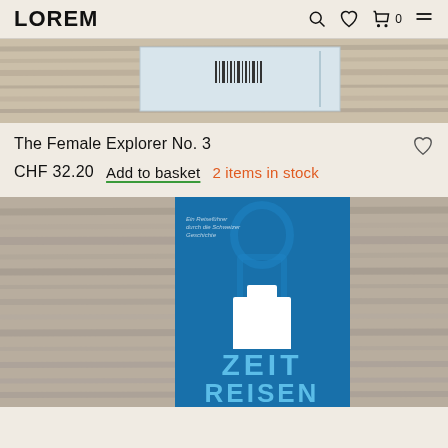LOREM
[Figure (photo): Top-down view of a book spine lying on a weathered wood surface, showing barcode detail]
The Female Explorer No. 3
CHF 32.20  Add to basket  2 items in stock
[Figure (photo): Book titled ZEIT REISEN with blue cover featuring Swiss cross and illustrated figures, placed on rustic wood background]